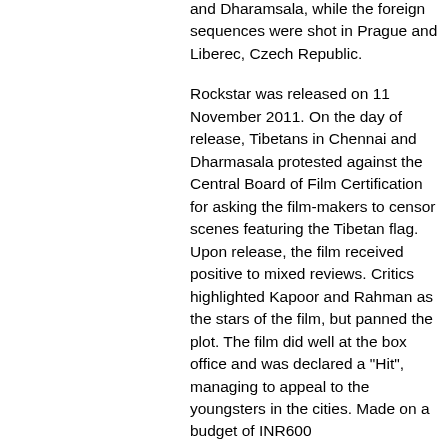and Dharamsala, while the foreign sequences were shot in Prague and Liberec, Czech Republic.
Rockstar was released on 11 November 2011. On the day of release, Tibetans in Chennai and Dharmasala protested against the Central Board of Film Certification for asking the film-makers to censor scenes featuring the Tibetan flag. Upon release, the film received positive to mixed reviews. Critics highlighted Kapoor and Rahman as the stars of the film, but panned the plot. The film did well at the box office and was declared a "Hit", managing to appeal to the youngsters in the cities. Made on a budget of INR600